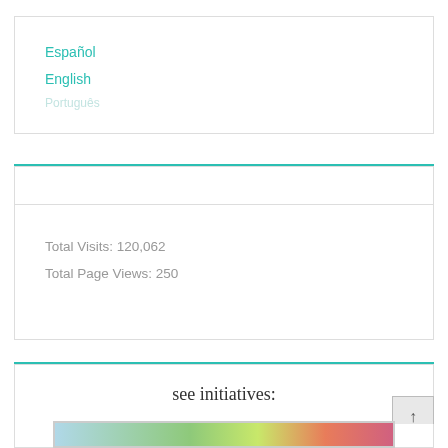Español
English
Total Visits: 120,062
Total Page Views: 250
see initiatives:
[Figure (photo): Partial image of people at an outdoor event or initiative, showing colorful crowd scene]